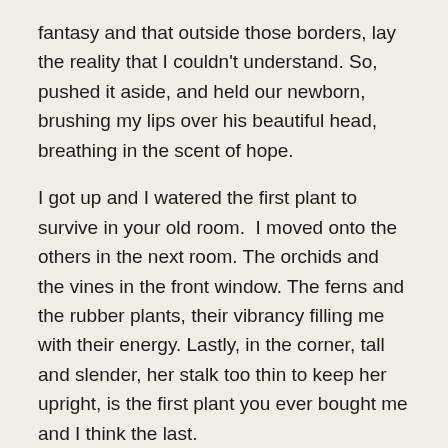fantasy and that outside those borders, lay the reality that I couldn't understand. So, pushed it aside, and held our newborn, brushing my lips over his beautiful head, breathing in the scent of hope.
I got up and I watered the first plant to survive in your old room.  I moved onto the others in the next room. The orchids and the vines in the front window. The ferns and the rubber plants, their vibrancy filling me with their energy. Lastly, in the corner, tall and slender, her stalk too thin to keep her upright, is the first plant you ever bought me and I think the last.
I remember your small smile when I told you that her name was Stacy and feeling your eyes on me as I placed her on top of the TV cabinet you bought for me. That little apartment, the one I could barely afford as a single mom, looked so real to me with my first ever brand-new piece of furniture, and Stacy sitting, proudly